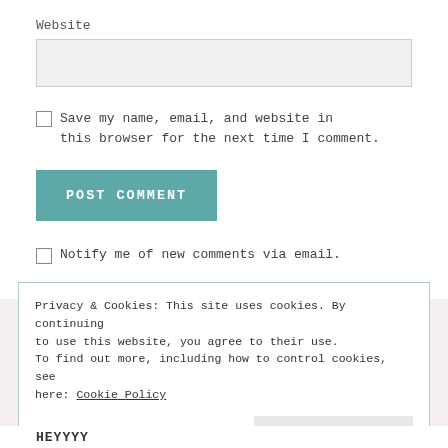Website
Save my name, email, and website in this browser for the next time I comment.
POST COMMENT
Notify me of new comments via email.
Privacy & Cookies: This site uses cookies. By continuing to use this website, you agree to their use.
To find out more, including how to control cookies, see here: Cookie Policy
Close and accept
HEYYYY